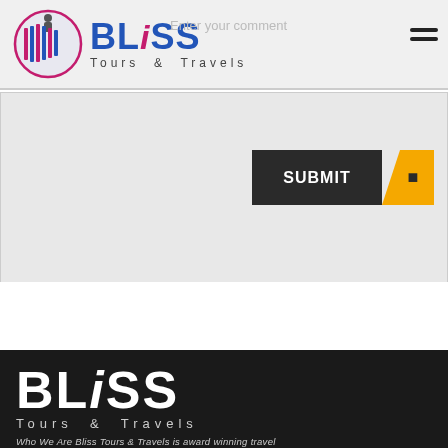[Figure (logo): Bliss Tours & Travels logo in header — circular emblem with B, colored BLISS text in blue and pink, Tours & Travels subtitle]
Enter your comment
[Figure (other): SUBMIT button with dark background and orange/yellow arrow accent]
[Figure (logo): Bliss Tours & Travels logo in white on dark/black footer background, large BLISS wordmark, Tours & Travels text below]
Who We Are Bliss Tours & Travels is award winning travel